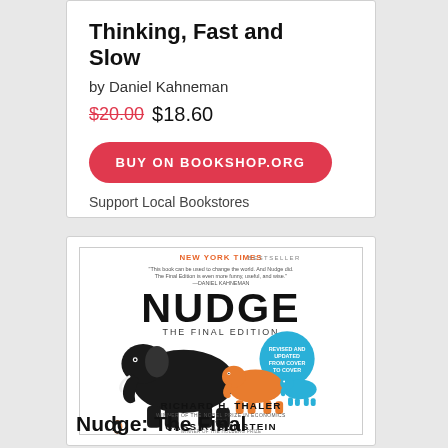Thinking, Fast and Slow
by Daniel Kahneman
$20.00  $18.60
BUY ON BOOKSHOP.ORG
Support Local Bookstores
[Figure (illustration): Book cover of 'Nudge: The Final Edition' by Richard H. Thaler and Cass R. Sunstein. Features a large black elephant silhouette, an orange elephant, and a small blue elephant, with a blue circular badge. New York Times Bestseller label at top.]
Nudge: The Final